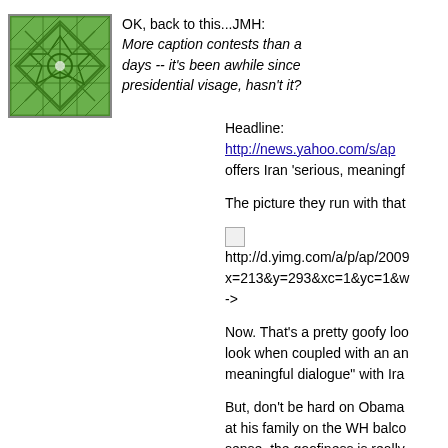[Figure (illustration): Green geometric star/snowflake pattern avatar image in a square with border]
OK, back to this...JMH:
More caption contests than a days -- it's been awhile since presidential visage, hasn't it?
Headline:
http://news.yahoo.com/s/ap
offers Iran 'serious, meaningf
The picture they run with that
http://d.yimg.com/a/p/ap/2009 x=213&y=293&xc=1&yc=1&w ->
Now. That's a pretty goofy loo look when coupled with an an meaningful dialogue" with Ira
But, don't be hard on Obama at his family on the WH balco sense, the goofiness is really
But back to JMH's point -- wh